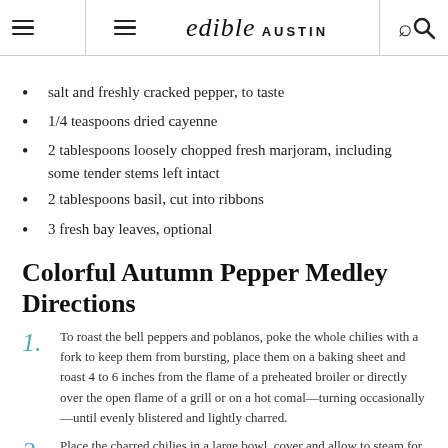edible AUSTIN
salt and freshly cracked pepper, to taste
1/4 teaspoons dried cayenne
2 tablespoons loosely chopped fresh marjoram, including some tender stems left intact
2 tablespoons basil, cut into ribbons
3 fresh bay leaves, optional
Colorful Autumn Pepper Medley Directions
1. To roast the bell peppers and poblanos, poke the whole chilies with a fork to keep them from bursting, place them on a baking sheet and roast 4 to 6 inches from the flame of a preheated broiler or directly over the open flame of a grill or on a hot comal—turning occasionally—until evenly blistered and lightly charred.
2. Place the charred chilies in a large bowl, cover and allow to steam for 10 minutes. Carefully peel away the charred skin, but don't rinse the chilies under running water or you'll lose flavor! Remove the seeds and stems and cut the